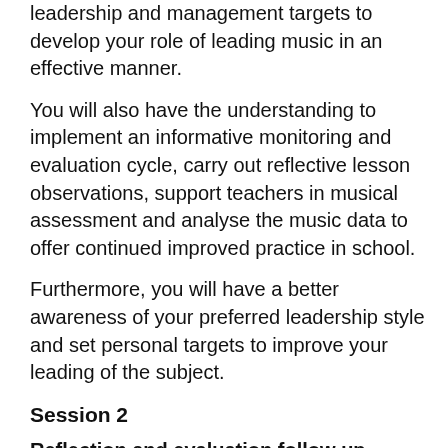leadership and management targets to develop your role of leading music in an effective manner.
You will also have the understanding to implement an informative monitoring and evaluation cycle, carry out reflective lesson observations, support teachers in musical assessment and analyse the music data to offer continued improved practice in school.
Furthermore, you will have a better awareness of your preferred leadership style and set personal targets to improve your leading of the subject.
Session 2
Reflection and evaluation follow up training
A good leader reflects and evaluates their practice. This session gives Music Coordinators the space to reflect on the learning and implementation of the Developing Subject Leadership training. During the session